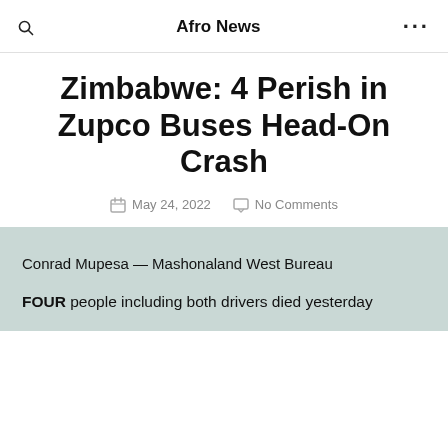Afro News
Zimbabwe: 4 Perish in Zupco Buses Head-On Crash
May 24, 2022   No Comments
Conrad Mupesa — Mashonaland West Bureau
FOUR people including both drivers died yesterday